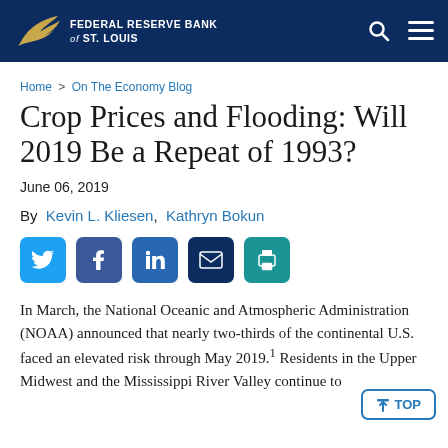FEDERAL RESERVE BANK of ST. LOUIS
Home > On The Economy Blog
Crop Prices and Flooding: Will 2019 Be a Repeat of 1993?
June 06, 2019
By Kevin L. Kliesen, Kathryn Bokun
[Figure (infographic): Social sharing buttons: Twitter, Facebook, LinkedIn, Email, Print]
In March, the National Oceanic and Atmospheric Administration (NOAA) announced that nearly two-thirds of the continental U.S. faced an elevated risk through May 2019.¹ Residents in the Upper Midwest and the Mississippi River Valley continue to